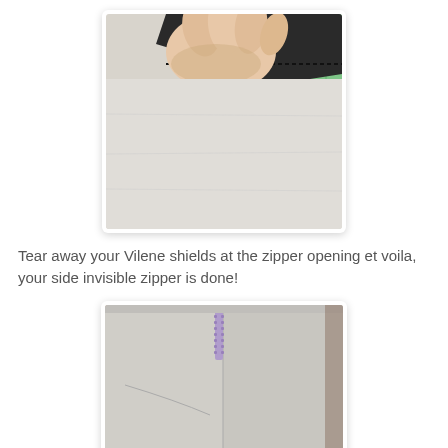[Figure (photo): A hand peeling back a dark grey/black fabric piece from a light grey fabric, revealing the Vilene shield being torn away at the zipper area. Green cutting mat visible in background.]
Tear away your Vilene shields at the zipper opening et voila, your side invisible zipper is done!
[Figure (photo): A completed side invisible zipper on a light grey fabric garment. A purple zipper pull is visible at the top right corner where the two fabric pieces meet neatly.]